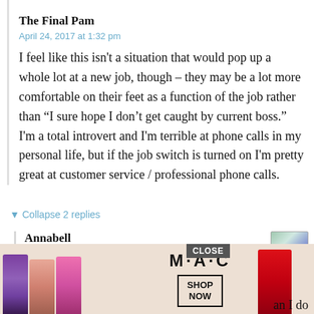The Final Pam
April 24, 2017 at 1:32 pm
I feel like this isn't a situation that would pop up a whole lot at a new job, though – they may be a lot more comfortable on their feet as a function of the job rather than “I sure hope I don’t get caught by current boss.” I'm a total introvert and I'm terrible at phone calls in my personal life, but if the job switch is turned on I'm pretty great at customer service / professional phone calls.
▼ Collapse 2 replies
Annabell
April 24, 2017 at 2:23 pm
Yeah, I feel the same way. I answer ca... in my ... an I do
[Figure (screenshot): MAC cosmetics advertisement overlay showing lipsticks on left, MAC logo with SHOP NOW button in center, red lipstick on right, and CLOSE button at top.]